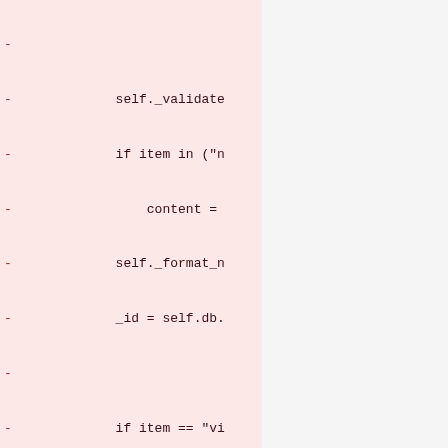Code diff showing deleted lines (marked with -) including: self._validate, if item in ("n, content =, self._format_n, _id = self.db., if item == "vi, msg_data =, msg_data.p, self.msg.w, elif item == ", msg_data =, msg_data.p, self.msg.w, return _id, except ValidationE, raise EngineEx, def new_nslcmop(self,, now = time(), _id = str(uuid4()), nslcmop = {, "id": _id,, "_id": _id,